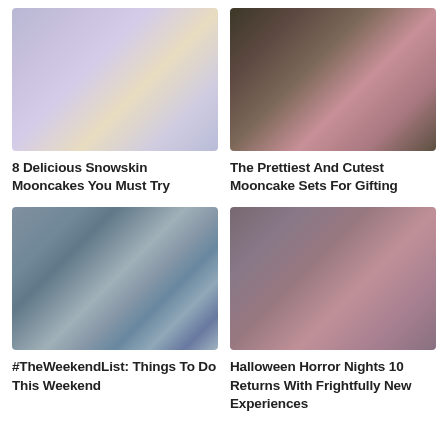[Figure (photo): Blurred soft-focus image with pastel purple and cream tones, likely mooncakes]
8 Delicious Snowskin Mooncakes You Must Try
[Figure (photo): Blurred dark-toned image with pink/rose hues, likely mooncake gift sets]
The Prettiest And Cutest Mooncake Sets For Gifting
[Figure (photo): Blurred outdoor scene with blue and green tones, rainbow visible at bottom left]
#TheWeekendList: Things To Do This Weekend
[Figure (photo): Blurred dark moody image with pink/grey tones, likely Halloween Horror Nights]
Halloween Horror Nights 10 Returns With Frightfully New Experiences